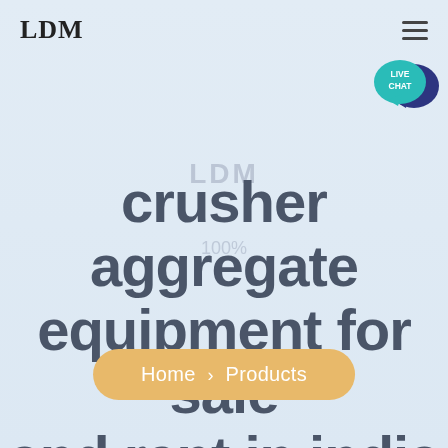LDM
[Figure (illustration): Live Chat speech bubble icon in teal/dark blue, top right corner]
LDM crusher aggregate equipment for sale and rent in india
Home > Products